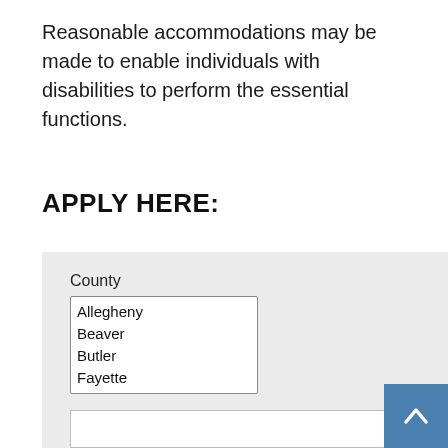Reasonable accommodations may be made to enable individuals with disabilities to perform the essential functions.
APPLY HERE:
[Figure (screenshot): Web form with County listbox showing Allegheny, Beaver, Butler, Fayette options, and First Name required text input field, with a blue back-to-top button in bottom right.]